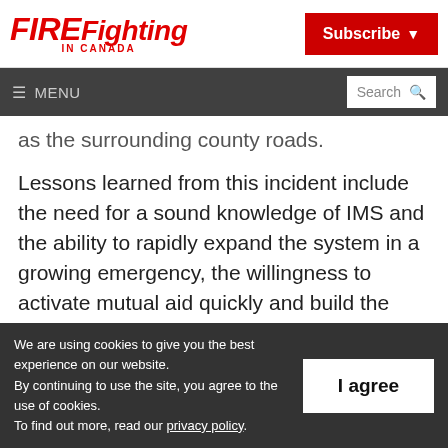FIREFighting IN CANADA
Subscribe
≡ MENU  Search
as the surrounding county roads.
Lessons learned from this incident include the need for a sound knowledge of IMS and the ability to rapidly expand the system in a growing emergency, the willingness to activate mutual aid quickly and build the capacity of
We are using cookies to give you the best experience on our website. By continuing to use the site, you agree to the use of cookies. To find out more, read our privacy policy.